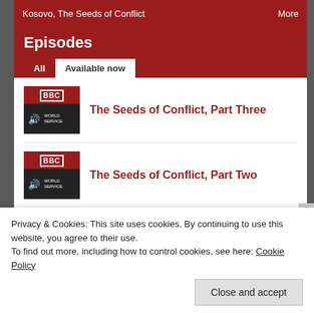Kosovo, The Seeds of Conflict    More
Episodes
All   Available now
The Seeds of Conflict, Part Three
The Seeds of Conflict, Part Two
The Seeds of Conflict, Part One
New Media:
Privacy & Cookies: This site uses cookies. By continuing to use this website, you agree to their use.
To find out more, including how to control cookies, see here: Cookie Policy
Close and accept